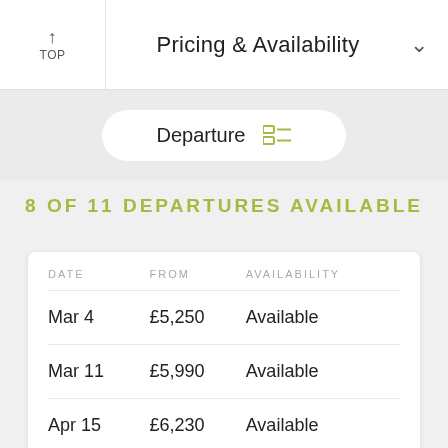Pricing & Availability
Departure
8 OF 11 DEPARTURES AVAILABLE
| DATE | FROM | AVAILABILITY |
| --- | --- | --- |
| Mar 4 | £5,250 | Available |
| Mar 11 | £5,990 | Available |
| Apr 15 | £6,230 | Available |
| Apr 22 | £5,490 | Limited |
| Apr 29 | £6,230 | Sold Out |